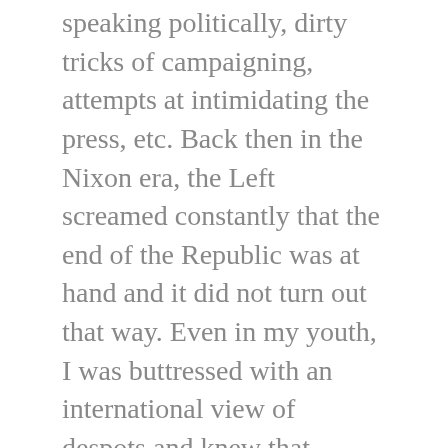speaking politically, dirty tricks of campaigning, attempts at intimidating the press, etc. Back then in the Nixon era, the Left screamed constantly that the end of the Republic was at hand and it did not turn out that way. Even in my youth, I was buttressed with an international view of despots and knew that Nixon was not such. I had lived in a few such countries overseas and had my father's wise WWII based perspective on what a dictator was. Somehow I knew that the Nixon crowd would totally self-destruct. It helped on a personal note that my father was an Eisenhower Republican and had a dim view of Nixon and had him 'pegged' all along.
In those days watching Nixon and the Watergate hearings the last year of his Presidency, I had the view that such character disorders, caused their own